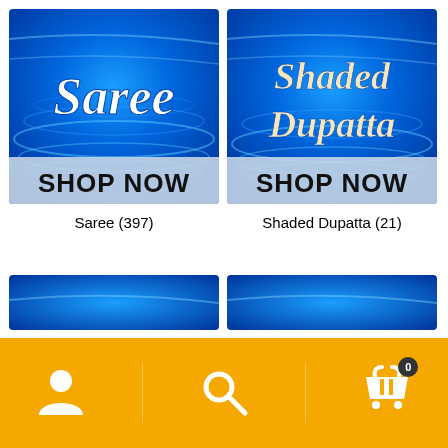[Figure (other): Product card image for Saree category — blue water ripple background with white bold italic 'Saree' text and 'SHOP NOW' banner at bottom]
[Figure (other): Product card image for Shaded Dupatta category — blue water ripple background with cream bold italic 'Shaded Dupatta' text and 'SHOP NOW' banner at bottom]
Saree (397)
Shaded Dupatta (21)
[Figure (other): Partially visible blue ripple image card at bottom left]
[Figure (other): Partially visible blue ripple image card at bottom right]
Navigation bar with user icon, search icon, and cart icon (0) on orange/amber background